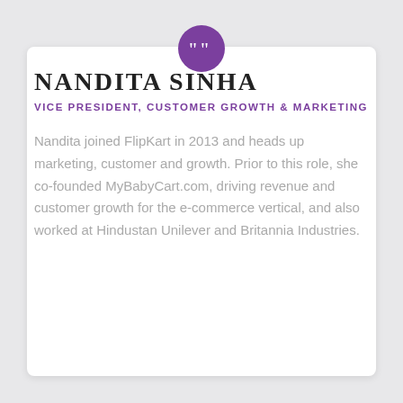[Figure (illustration): Purple circle with white quotation mark icon at top center of card]
NANDITA SINHA
VICE PRESIDENT, CUSTOMER GROWTH & MARKETING
Nandita joined FlipKart in 2013 and heads up marketing, customer and growth. Prior to this role, she co-founded MyBabyCart.com, driving revenue and customer growth for the e-commerce vertical, and also worked at Hindustan Unilever and Britannia Industries.